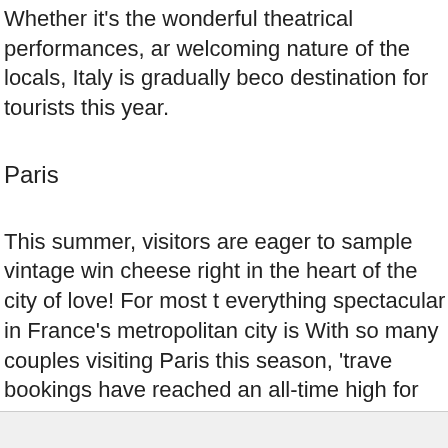Whether it's the wonderful theatrical performances, ar welcoming nature of the locals, Italy is gradually beco destination for tourists this year.
Paris
This summer, visitors are eager to sample vintage win cheese right in the heart of the city of love! For most t everything spectacular in France's metropolitan city is With so many couples visiting Paris this season, 'trave bookings have reached an all-time high for the city.